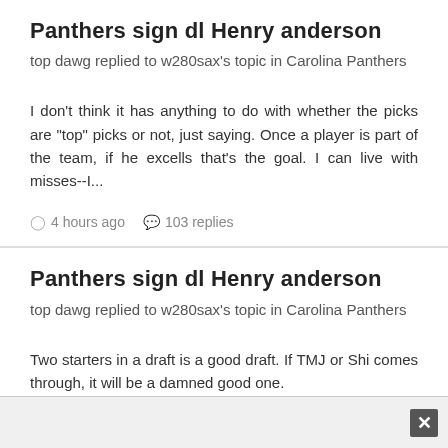Panthers sign dl Henry anderson
top dawg replied to w280sax's topic in Carolina Panthers
I don't think it has anything to do with whether the picks are "top" picks or not, just saying. Once a player is part of the team, if he excells that's the goal. I can live with misses--I...
4 hours ago   103 replies
Panthers sign dl Henry anderson
top dawg replied to w280sax's topic in Carolina Panthers
Two starters in a draft is a good draft. If TMJ or Shi comes through, it will be a damned good one.
4 hours ago   103 replies   2